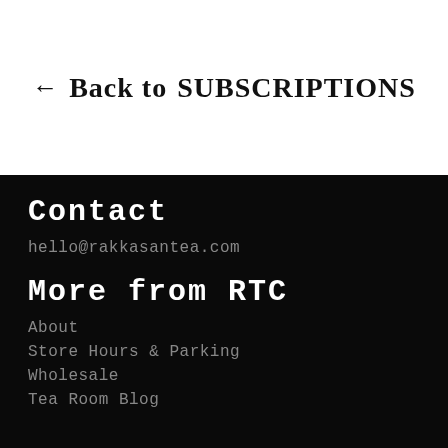← Back to SUBSCRIPTIONS
Contact
hello@rakkasantea.com
More from RTC
About
Store Hours & Parking
Wholesale
Tea Room Blog